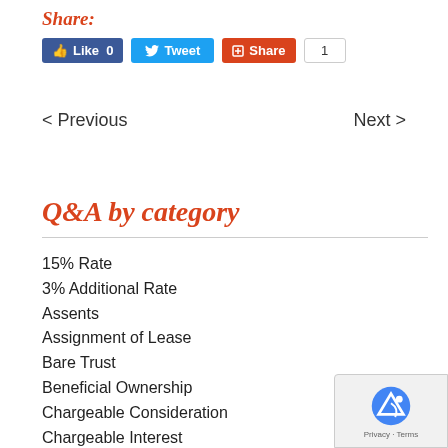Share:
[Figure (screenshot): Social share buttons: Facebook Like 0, Twitter Tweet, Google+ Share with count 1]
< Previous
Next >
Q&A by category
15% Rate
3% Additional Rate
Assents
Assignment of Lease
Bare Trust
Beneficial Ownership
Chargeable Consideration
Chargeable Interest
Corporate Purchaser
Couples